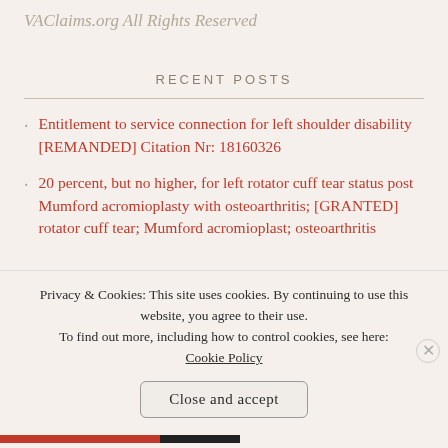VAClaims.org All Rights Reserved
RECENT POSTS
Entitlement to service connection for left shoulder disability [REMANDED] Citation Nr: 18160326
20 percent, but no higher, for left rotator cuff tear status post Mumford acromioplasty with osteoarthritis; [GRANTED] rotator cuff tear; Mumford acromioplast; osteoarthritis
Privacy & Cookies: This site uses cookies. By continuing to use this website, you agree to their use.
To find out more, including how to control cookies, see here: Cookie Policy